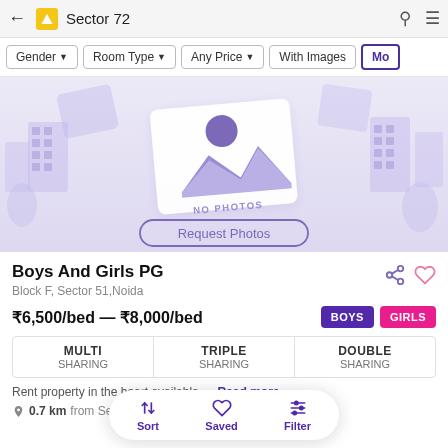← Sector 72
Gender ▾
Room Type ▾
Any Price ▾
With Images
Mo
[Figure (illustration): No Photos placeholder illustration with floating building icons on a lavender background, showing a photo icon with 'NO PHOTOS' text and a 'Request Photos' button]
Boys And Girls PG
Block F, Sector 51,Noida
₹6,500/bed — ₹8,000/bed
BOYS   GIRLS
| MULTI SHARING | TRIPLE SHARING | DOUBLE SHARING |
| --- | --- | --- |
Rent property in the hea... t available … Read more
0.7 km from Sector 72...
Sort   Saved   Filter